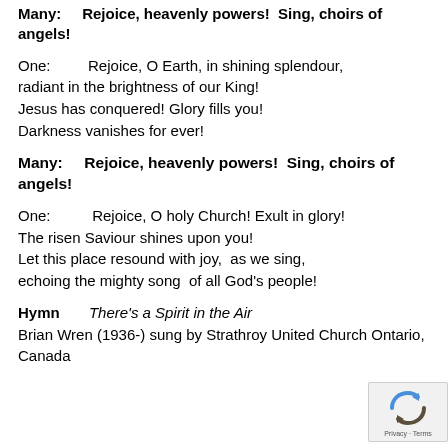Many:    Rejoice, heavenly powers!  Sing, choirs of angels!
One:        Rejoice, O Earth, in shining splendour, radiant in the brightness of our King! Jesus has conquered! Glory fills you! Darkness vanishes for ever!
Many:      Rejoice, heavenly powers!  Sing, choirs of angels!
One:         Rejoice, O holy Church! Exult in glory! The risen Saviour shines upon you! Let this place resound with joy,  as we sing, echoing the mighty song  of all God's people!
Hymn        There's a Spirit in the Air
Brian Wren (1936-) sung by Strathroy United Church Ontario, Canada